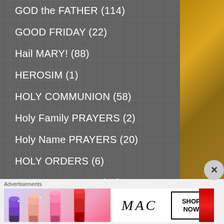GOD the FATHER (114)
GOOD FRIDAY (22)
Hail MARY! (88)
HEROSIM (1)
HOLY COMMUNION (58)
Holy Family PRAYERS (2)
Holy Name PRAYERS (20)
HOLY ORDERS (6)
HOLY SATURDAY (18)
HOLY SPIRIT (23)
HOLY WEEK (120)
Advertisements
[Figure (photo): MAC cosmetics advertisement showing colorful lipsticks and MAC logo with SHOP NOW call to action]